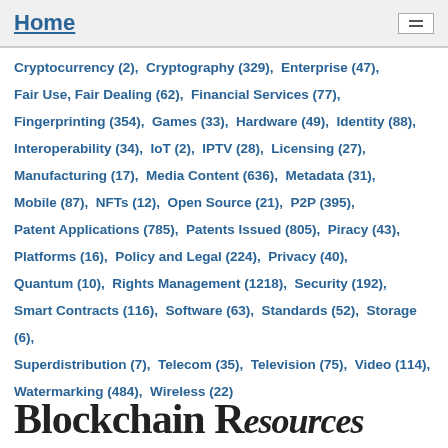Home
Cryptocurrency (2),  Cryptography (329),  Enterprise (47),  Fair Use, Fair Dealing (62),  Financial Services (77),  Fingerprinting (354),  Games (33),  Hardware (49),  Identity (88),  Interoperability (34),  IoT (2),  IPTV (28),  Licensing (27),  Manufacturing (17),  Media Content (636),  Metadata (31),  Mobile (87),  NFTs (12),  Open Source (21),  P2P (395),  Patent Applications (785),  Patents Issued (805),  Piracy (43),  Platforms (16),  Policy and Legal (224),  Privacy (40),  Quantum (10),  Rights Management (1218),  Security (192),  Smart Contracts (116),  Software (63),  Standards (52),  Storage (6),  Superdistribution (7),  Telecom (35),  Television (75),  Video (114),  Watermarking (484),  Wireless (22)
Blockchain Resources